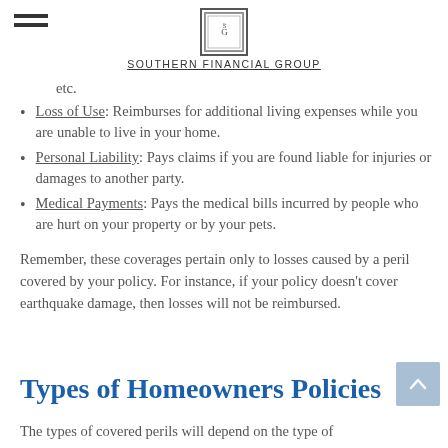SOUTHERN FINANCIAL GROUP
etc.
Loss of Use: Reimburses for additional living expenses while you are unable to live in your home.
Personal Liability: Pays claims if you are found liable for injuries or damages to another party.
Medical Payments: Pays the medical bills incurred by people who are hurt on your property or by your pets.
Remember, these coverages pertain only to losses caused by a peril covered by your policy. For instance, if your policy doesn’t cover earthquake damage, then losses will not be reimbursed.
Types of Homeowners Policies
The types of covered perils will depend on the type of